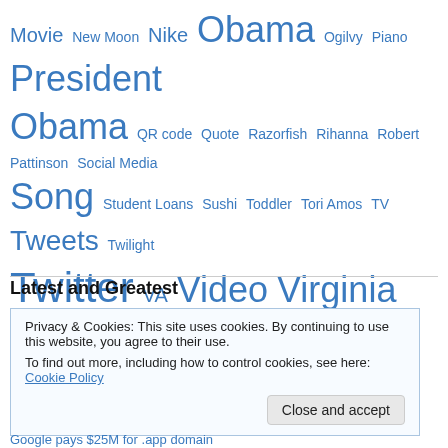[Figure (other): Tag cloud with words of varying sizes in blue: Movie, New Moon, Nike, Obama, Ogilvy, Piano, President, Obama, QR code, Quote, Razorfish, Rihanna, Robert Pattinson, Social Media, Song, Student Loans, Sushi, Toddler, Tori Amos, TV, Tweets, Twilight, Twitter, VA, Video, Virginia, website, Wedding, Wordpress, YouTube]
Latest and Greatest
Privacy & Cookies: This site uses cookies. By continuing to use this website, you agree to their use.
To find out more, including how to control cookies, see here: Cookie Policy
Close and accept
Google pays $25M for .app domain